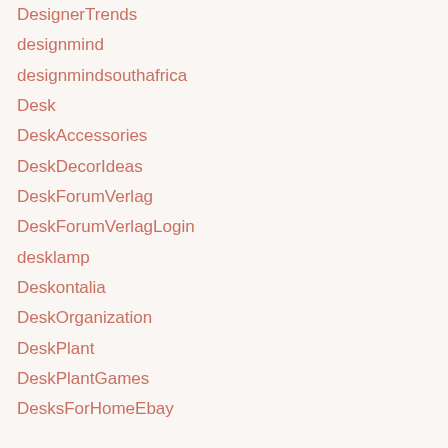DesignerTrends
designmind
designmindsouthafrica
Desk
DeskAccessories
DeskDecorIdeas
DeskForumVerlag
DeskForumVerlagLogin
desklamp
Deskontalia
DeskOrganization
DeskPlant
DeskPlantGames
DesksForHomeEbay